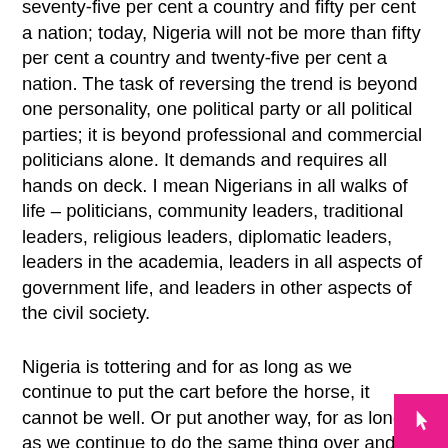seventy-five per cent a country and fifty per cent a nation; today, Nigeria will not be more than fifty per cent a country and twenty-five per cent a nation. The task of reversing the trend is beyond one personality, one political party or all political parties; it is beyond professional and commercial politicians alone. It demands and requires all hands on deck. I mean Nigerians in all walks of life – politicians, community leaders, traditional leaders, religious leaders, diplomatic leaders, leaders in the academia, leaders in all aspects of government life, and leaders in other aspects of the civil society.
Nigeria is tottering and for as long as we continue to put the cart before the horse, it cannot be well. Or put another way, for as long as we continue to do the same thing over and over again, the result will not be different. If the drift is not halted, the remaining twenty-five per cent of Nigeria nation will be dissipated in no time and Nigeria will not